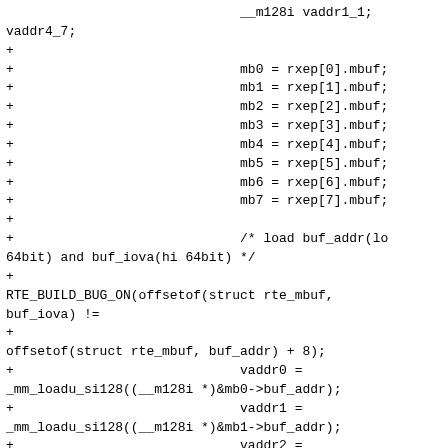Code diff showing mbuf assignments and _mm_loadu_si128 vaddr loads